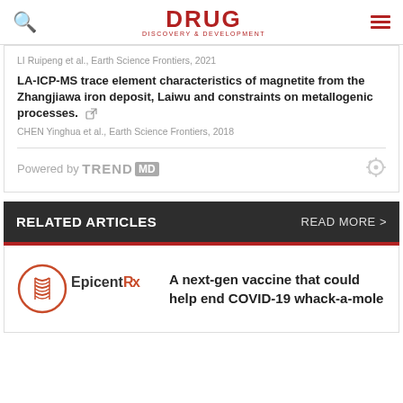DRUG DISCOVERY & DEVELOPMENT
LI Ruipeng et al., Earth Science Frontiers, 2021
LA-ICP-MS trace element characteristics of magnetite from the Zhangjiawa iron deposit, Laiwu and constraints on metallogenic processes.
CHEN Yinghua et al., Earth Science Frontiers, 2018
Powered by TRENDMD
RELATED ARTICLES
READ MORE >
A next-gen vaccine that could help end COVID-19 whack-a-mole
[Figure (logo): EpicentRx logo — circular DNA/molecule icon with EpicentRx text]